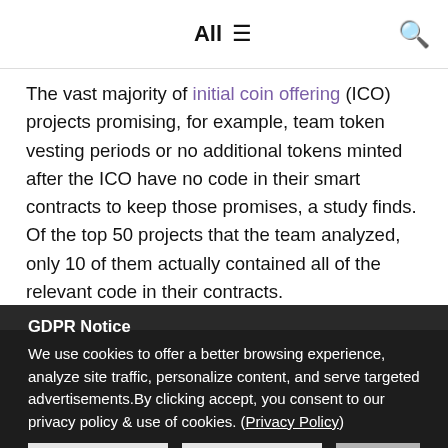All ≡  🔍
The vast majority of initial coin offering (ICO) projects promising, for example, team token vesting periods or no additional tokens minted after the ICO have no code in their smart contracts to keep those promises, a study finds. Of the top 50 projects that the team analyzed, only 10 of them actually contained all of the relevant code in their contracts.
GDPR Notice
We use cookies to offer a better browsing experience, analyze site traffic, personalize content, and serve targeted advertisements.By clicking accept, you consent to our privacy policy & use of cookies. (Privacy Policy)
Preferences
Confirm all